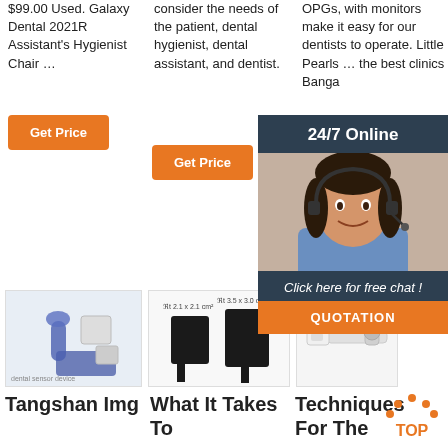$99.00 Used. Galaxy Dental 2021R Assistant's Hygienist Chair …
consider the needs of the patient, dental hygienist, dental assistant, and dentist.
OPGs, with monitors make it easy for our dentists to operate. Little Pearls … the best clinics Banga
Get Price
Get Price
Get
[Figure (photo): Tangshan Img dental product photo showing a handheld device and sensor pads]
[Figure (photo): What It Takes To — dental sensor/device product photo showing two black rectangular sensors with size labels]
[Figure (photo): Techniques For The — dental camera/arm device product photo]
[Figure (illustration): 24/7 Online chat overlay with woman wearing headset, Click here for free chat!, QUOTATION button, and TOP arrow icon]
Tangshan Img
What It Takes To
Techniques For The